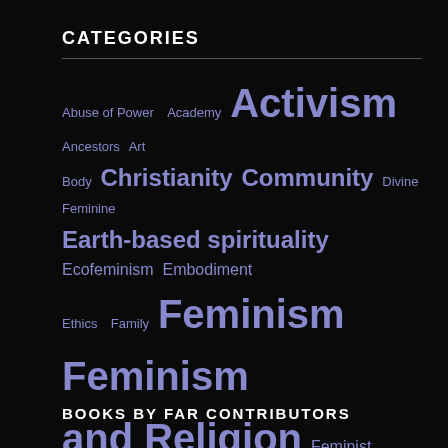CATEGORIES
[Figure (infographic): Tag cloud / word cloud of book categories in medium purple on black background. Words sized by frequency/importance: General (largest), Feminism and Religion, Activism (large), Christianity, Feminism, Earth-based spirituality, Ecofeminism (medium-large), and many smaller terms including Abuse of Power, Academy, Ancestors, Art, Body, Community, Divine Feminine, Embodiment, Ethics, Family, Feminist Theology, Foremothers, Gender and Power, Goddess, Goddess Spirituality, Nature, Patriarchy, Poetry, Politics, Social Justice, Spirituality, Women's Spirituality, Women's Voices.]
BOOKS BY FAR CONTRIBUTORS